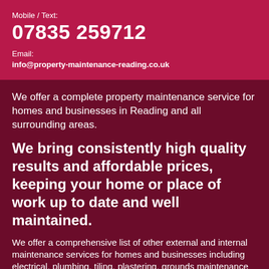Mobile / Text:
07835 259712
Email:
info@property-maintenance-reading.co.uk
We offer a complete property maintenance service for homes and businesses in Reading and all surrounding areas.
We bring consistently high quality results and affordable prices, keeping your home or place of work up to date and well maintained.
We offer a comprehensive list of other external and internal maintenance services for homes and businesses including electrical, plumbing, tiling, plastering, grounds maintenance and many more. Please contact us to find out more.